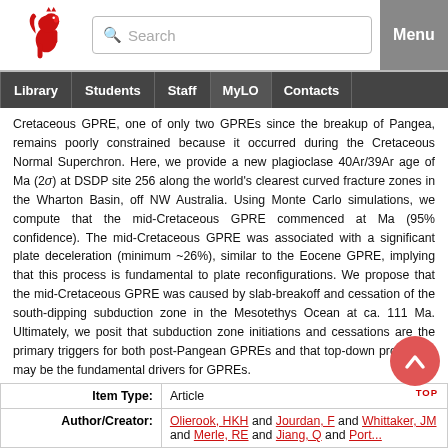University website header with logo, search bar, and Menu button
Navigation: Library | Students | Staff | MyLO | Contacts
Cretaceous GPRE, one of only two GPREs since the breakup of Pangea, remains poorly constrained because it occurred during the Cretaceous Normal Superchron. Here, we provide a new plagioclase 40Ar/39Ar age of Ma (2σ) at DSDP site 256 along the world's clearest curved fracture zones in the Wharton Basin, off NW Australia. Using Monte Carlo simulations, we compute that the mid-Cretaceous GPRE commenced at Ma (95% confidence). The mid-Cretaceous GPRE was associated with a significant plate deceleration (minimum ~26%), similar to the Eocene GPRE, implying that this process is fundamental to plate reconfigurations. We propose that the mid-Cretaceous GPRE was caused by slab-breakoff and cessation of the south-dipping subduction zone in the Mesotethys Ocean at ca. 111 Ma. Ultimately, we posit that subduction zone initiations and cessations are the primary triggers for both post-Pangean GPREs and that top-down processes may be the fundamental drivers for GPREs.
| Field | Value |
| --- | --- |
| Item Type: | Article |
| Author/Creator: | Olierook, HKH and Jourdan, F and Whittaker, JM and Merle, RE and Jiang, Q and Porter... |
[Figure (logo): Red lion rampant university logo]